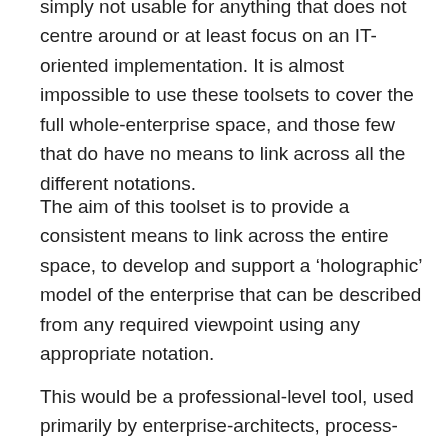simply not usable for anything that does not centre around or at least focus on an IT-oriented implementation. It is almost impossible to use these toolsets to cover the full whole-enterprise space, and those few that do have no means to link across all the different notations.
The aim of this toolset is to provide a consistent means to link across the entire space, to develop and support a ‘holographic’ model of the enterprise that can be described from any required viewpoint using any appropriate notation.
This would be a professional-level tool, used primarily by enterprise-architects, process- and service-designers, organisational-change